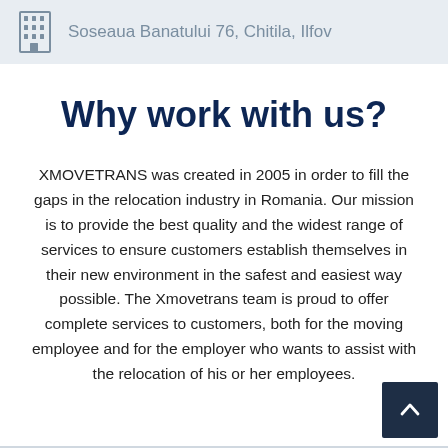Soseaua Banatului 76, Chitila, Ilfov
Why work with us?
XMOVETRANS was created in 2005 in order to fill the gaps in the relocation industry in Romania. Our mission is to provide the best quality and the widest range of services to ensure customers establish themselves in their new environment in the safest and easiest way possible. The Xmovetrans team is proud to offer complete services to customers, both for the moving employee and for the employer who wants to assist with the relocation of his or her employees.